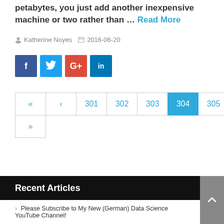petabytes, you just add another inexpensive machine or two rather than … Read More
Katherine Noyes   2016-06-20
[Figure (other): Social sharing buttons: Facebook (blue), Twitter (light blue), Google+ (red), LinkedIn (dark blue)]
« ‹ 301 302 303 304 305 › »
Recent Articles
> Please Subscribe to My New (German) Data Science YouTube Channel!